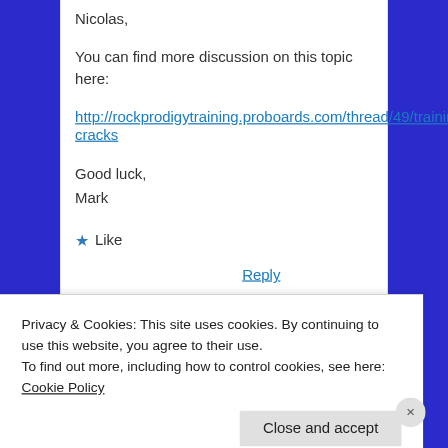Nicolas,
You can find more discussion on this topic here:
http://rockprodigytraining.proboards.com/thread/49/training-cracks
Good luck,
Mark
★ Like
Reply
Privacy & Cookies: This site uses cookies. By continuing to use this website, you agree to their use.
To find out more, including how to control cookies, see here: Cookie Policy
Close and accept